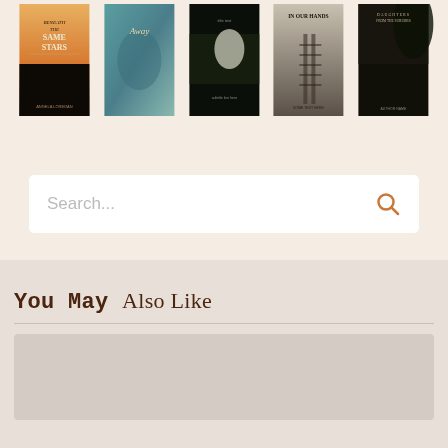[Figure (screenshot): Row of five book covers partially visible at the top of the page on a beige/cream background]
[Figure (screenshot): Search bar with placeholder text 'Search...' and an orange/brown search icon on the right]
You May Also Like
[Figure (screenshot): Partially visible card/content area in light gray at the bottom of the page under 'You May Also Like' section]